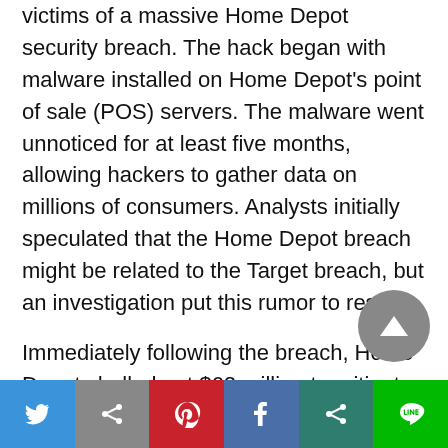victims of a massive Home Depot security breach. The hack began with malware installed on Home Depot's point of sale (POS) servers. The malware went unnoticed for at least five months, allowing hackers to gather data on millions of consumers. Analysts initially speculated that the Home Depot breach might be related to the Target breach, but an investigation put this rumor to rest.
Immediately following the breach, Home Depot shelled out $62 million to mitigate damages, but lawsuits and other consumer actions have greatly increased the price tag.
[Figure (other): Social media share bar with six buttons: Twitter (blue), grey share, Pinterest (red), Facebook (dark blue), dark teal share, and LINE (green)]